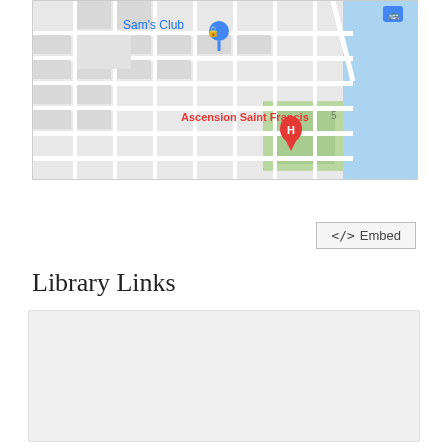[Figure (map): Google Maps view showing Sam's Club with blue pin, Ascension Saint Francis with red hospital pin (H), city grid streets, green park area, and blue water area on the right.]
</> Embed
Library Links
Loan Policies
Events
Ask a Librarian